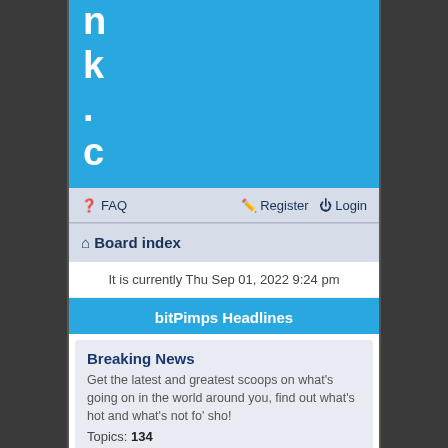nk.con
FAQ   Register   Login
Board index
It is currently Thu Sep 01, 2022 9:24 pm
bitPimps Headlines
Breaking News
Get the latest and greatest scoops on what's going on in the world around you, find out what's hot and what's not fo' sho!
Topics: 134
bitPimps Hood
Bit / Zip Discussion
General discussions, new info, and all stuff that's how you say, off the hook. Bit, ZZ, SE, MT, SS... as long as it's micro, it's here.
Topics: ???